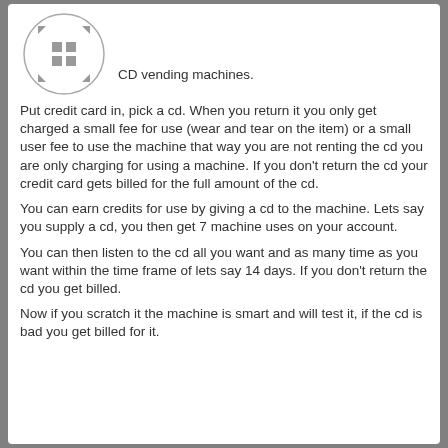[Figure (logo): Circle with directional arrows and a grid of squares inside, resembling a navigation/CD vending machine icon]
CD vending machines.
Put credit card in, pick a cd. When you return it you only get charged a small fee for use (wear and tear on the item) or a small user fee to use the machine that way you are not renting the cd you are only charging for using a machine. If you don't return the cd your credit card gets billed for the full amount of the cd.
You can earn credits for use by giving a cd to the machine. Lets say you supply a cd, you then get 7 machine uses on your account.
You can then listen to the cd all you want and as many time as you want within the time frame of lets say 14 days. If you don't return the cd you get billed.
Now if you scratch it the machine is smart and will test it, if the cd is bad you get billed for it.